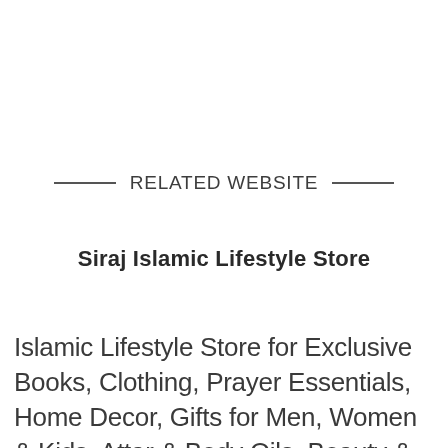RELATED WEBSITE
Siraj Islamic Lifestyle Store
Islamic Lifestyle Store for Exclusive Books, Clothing, Prayer Essentials, Home Decor, Gifts for Men, Women & Kids, Attar & Body Oils, Beauty & Hygiene & more